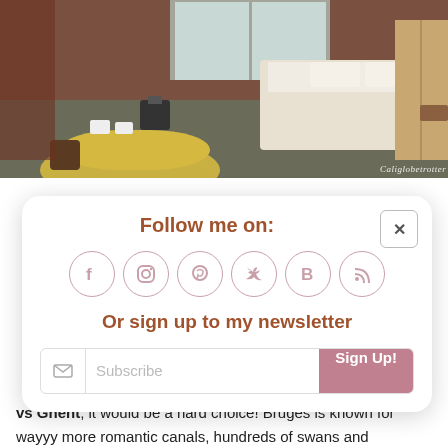[Figure (photo): Hotel room interior with a bed with white linens, a round yellow table, chair, wardrobe, and window. Watermark reads 'Caliglobetrotter' in bottom right.]
Follow me on:
[Figure (infographic): Social media icons in circles: Facebook (f), Instagram, Pinterest, Twitter (bird), Bloglovin (B), RSS feed]
Or sign up to my newsletter
Subscribe | Sign Up!
vs Ghent, it would be a hard choice! Bruges is known for wayyy more romantic canals, hundreds of swans and